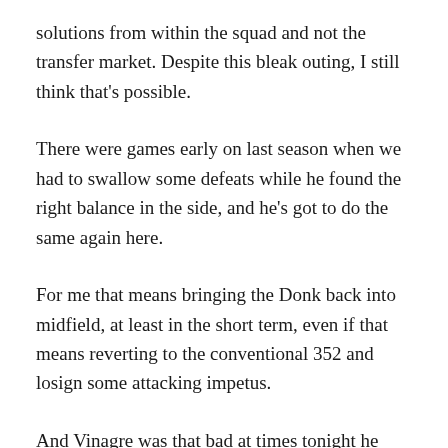solutions from within the squad and not the transfer market. Despite this bleak outing, I still think that's possible.
There were games early on last season when we had to swallow some defeats while he found the right balance in the side, and he's got to do the same again here.
For me that means bringing the Donk back into midfield, at least in the short term, even if that means reverting to the conventional 352 and losign some attacking impetus.
And Vinagre was that bad at times tonight he may even consider playing Samade down the left